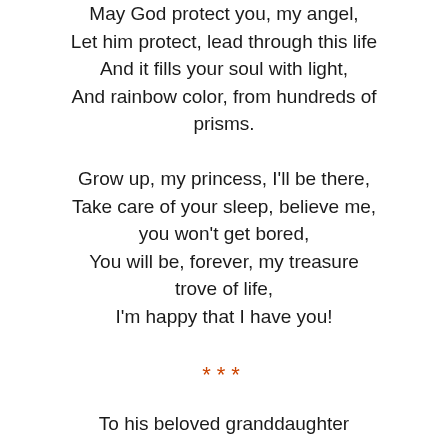May God protect you, my angel,
Let him protect, lead through this life
And it fills your soul with light,
And rainbow color, from hundreds of prisms.
Grow up, my princess, I'll be there,
Take care of your sleep, believe me, you won't get bored,
You will be, forever, my treasure trove of life,
I'm happy that I have you!
***
To his beloved granddaughter